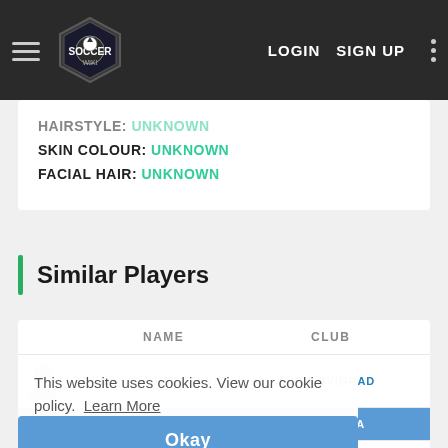Soccer Wiki — LOGIN SIGN UP
HAIRSTYLE: UNKNOWN
SKIN COLOUR: UNKNOWN
FACIAL HAIR: UNKNOWN
Similar Players
| NAME | CLUB |
| --- | --- |
| DAMIR DESPOTOVIĆ | NK NOVIGRAD |
| LUKA KUNŠTIĆ | NK BISTRA |
| LUIS ARBOLEDA | ONCE CALDAS |
This website uses cookies. View our cookie policy.  Learn More
Okay